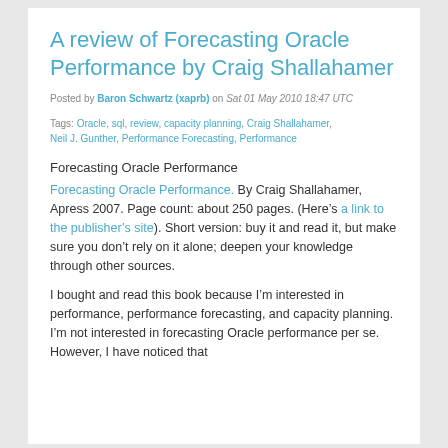A review of Forecasting Oracle Performance by Craig Shallahamer
Posted by Baron Schwartz (xaprb) on Sat 01 May 2010 18:47 UTC
Tags: Oracle, sql, review, capacity planning, Craig Shallahamer, Neil J. Gunther, Performance Forecasting, Performance
Forecasting Oracle Performance
Forecasting Oracle Performance. By Craig Shallahamer, Apress 2007. Page count: about 250 pages. (Here’s a link to the publisher’s site). Short version: buy it and read it, but make sure you don’t rely on it alone; deepen your knowledge through other sources.
I bought and read this book because I’m interested in performance, performance forecasting, and capacity planning. I’m not interested in forecasting Oracle performance per se. However, I have noticed that